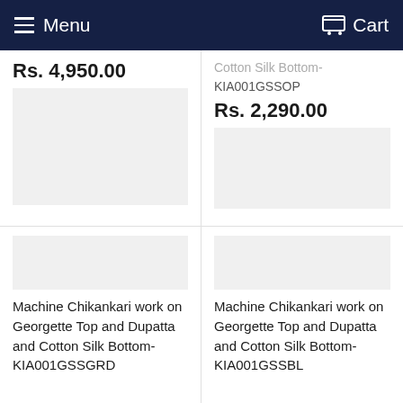Menu  Cart
Rs. 4,950.00
Cotton Silk Bottom-
KIA001GSSOP

Rs. 2,290.00
Machine Chikankari work on Georgette Top and Dupatta and Cotton Silk Bottom- KIA001GSSGRD
Machine Chikankari work on Georgette Top and Dupatta and Cotton Silk Bottom- KIA001GSSBL